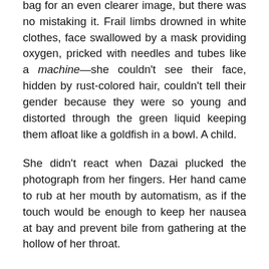bag for an even clearer image, but there was no mistaking it. Frail limbs drowned in white clothes, face swallowed by a mask providing oxygen, pricked with needles and tubes like a machine—she couldn't see their face, hidden by rust-colored hair, couldn't tell their gender because they were so young and distorted through the green liquid keeping them afloat like a goldfish in a bowl. A child.
She didn't react when Dazai plucked the photograph from her fingers. Her hand came to rub at her mouth by automatism, as if the touch would be enough to keep her nausea at bay and prevent bile from gathering at the hollow of her throat.
“I think,” Dazai said quietly, “that this should stay between the two of us.”
This at least seemed to unlock her reason. “We have to—”